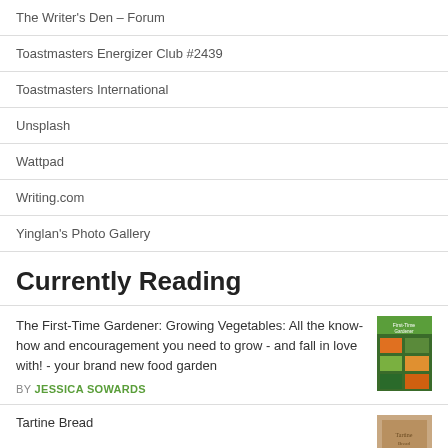The Writer's Den – Forum
Toastmasters Energizer Club #2439
Toastmasters International
Unsplash
Wattpad
Writing.com
Yinglan's Photo Gallery
Currently Reading
The First-Time Gardener: Growing Vegetables: All the know-how and encouragement you need to grow - and fall in love with! - your brand new food garden
BY JESSICA SOWARDS
Tartine Bread